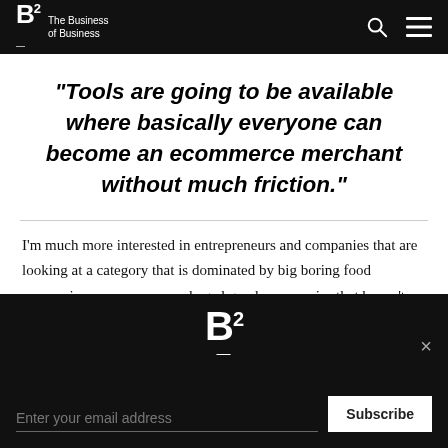B2 The Business of Business
"Tools are going to be available where basically everyone can become an ecommerce merchant without much friction."
I'm much more interested in entrepreneurs and companies that are looking at a category that is dominated by big boring food companies or consumer packaged goods companies that haven't had any
[Figure (logo): B2 logo centered on dark background with close X button]
Enter your email address
Subscribe